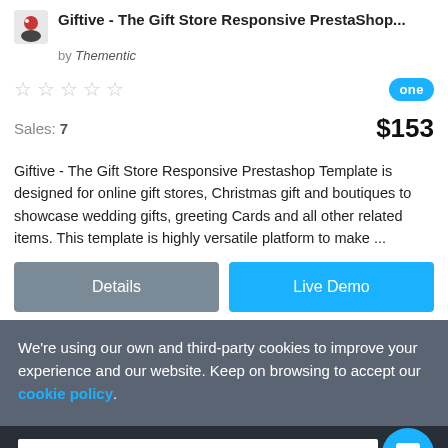Giftive - The Gift Store Responsive PrestaShop...
by Thementic
Sales: 7   $153
Giftive - The Gift Store Responsive Prestashop Template is designed for online gift stores, Christmas gift and boutiques to showcase wedding gifts, greeting Cards and all other related items. This template is highly versatile platform to make ...
Details
Live Demo
We're using our own and third-party cookies to improve your experience and our website. Keep on browsing to accept our cookie policy.
Accept